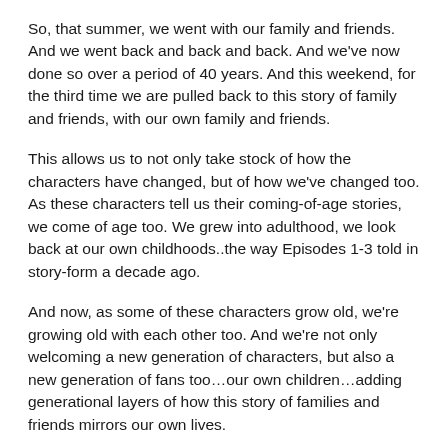So, that summer, we went with our family and friends. And we went back and back and back. And we've now done so over a period of 40 years. And this weekend, for the third time we are pulled back to this story of family and friends, with our own family and friends.
This allows us to not only take stock of how the characters have changed, but of how we've changed too. As these characters tell us their coming-of-age stories, we come of age too. We grew into adulthood, we look back at our own childhoods..the way Episodes 1-3 told in story-form a decade ago.
And now, as some of these characters grow old, we're growing old with each other too. And we're not only welcoming a new generation of characters, but also a  new generation of fans too…our own children…adding generational layers of how this story of families and friends mirrors our own lives.